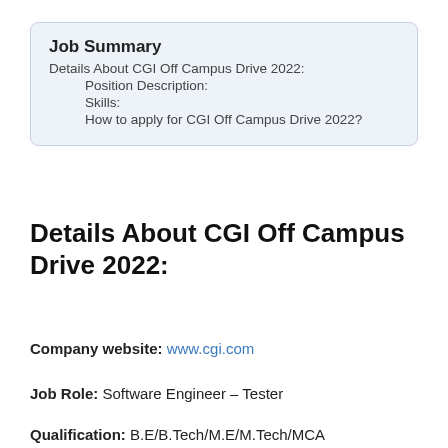Job Summary
Details About CGI Off Campus Drive 2022:
Position Description:
Skills:
How to apply for CGI Off Campus Drive 2022?
Details About CGI Off Campus Drive 2022:
Company website: www.cgi.com
Job Role: Software Engineer – Tester
Qualification: B.E/B.Tech/M.E/M.Tech/MCA